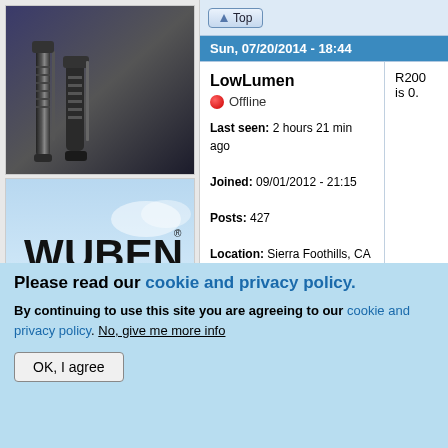[Figure (photo): Product photo of a black flashlight/torch against dark blue-grey background]
[Figure (advertisement): Wuben brand advertisement with logo, tagline 'LIGHT UP YOUR LIFE', and model text '1100... X-0' on white strip at bottom, sky background]
Top (button)
Sun, 07/20/2014 - 18:44
LowLumen
Offline
Last seen: 2 hours 21 min ago
Joined: 09/01/2012 - 21:15
Posts: 427
Location: Sierra Foothills, CA
R200 is 0.
Top (button)
Please read our cookie and privacy policy.
By continuing to use this site you are agreeing to our cookie and privacy policy. No, give me more info
OK, I agree